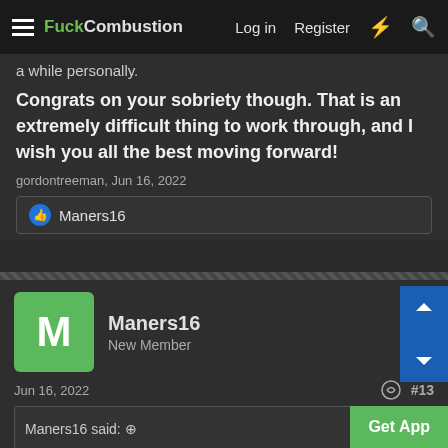FuckCombustion — Log in  Register
a while personally.
Congrats on your sobriety though. That is an extremely difficult thing to work through, and I wish you all the best moving forward!
gordontreeman, Jun 16, 2022
Maners16
Maners16
New Member
Jun 16, 2022
#13
Maners16 said: ⊕